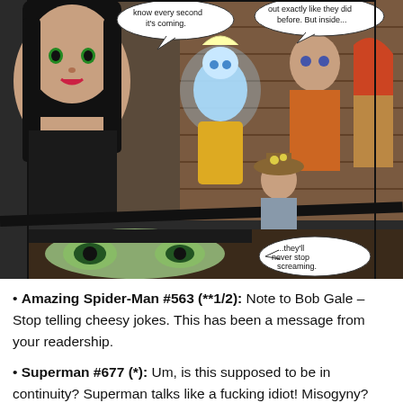[Figure (illustration): Comic book panel showing several characters including a dark-haired woman in black clothing on the left, a glowing blue/white figure in the center, and a group of characters on the right including a man in orange jacket and a red-haired woman. Speech bubbles read 'know every second it's coming.' and 'out exactly like they did before. But inside...' A lower panel shows a close-up of a character's eyes with a speech bubble saying '...they'll never stop screaming.']
Amazing Spider-Man #563 (**1/2): Note to Bob Gale – Stop telling cheesy jokes. This has been a message from your readership.
Superman #677 (*): Um, is this supposed to be in continuity? Superman talks like a fucking idiot! Misogyny? Check. Naiveté? Check. I mean, shit. The guy talks about his dog like a 7-year old would. How lame is this? I